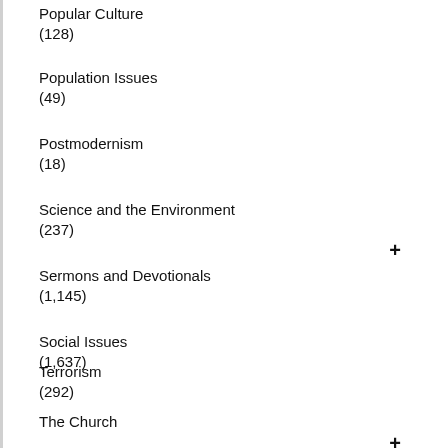Popular Culture
(128)
Population Issues
(49)
Postmodernism
(18)
Science and the Environment
(237)
Sermons and Devotionals
(1,145)
Social Issues
(1,637)
Terrorism
(292)
The Church
(1,116)